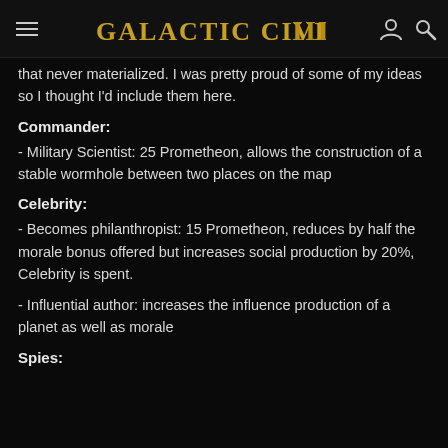Galactic Civilizations III
that never materialized. I was pretty proud of some of my ideas so I thought I'd include them here.
Commander:
- Military Scientist: 25 Prometheon, allows the construction of a stable wormhole between two places on the map
Celebrity:
- Becomes philanthropist: 15 Prometheon, reduces by half the morale bonus offered but increases social production by 20%, Celebrity is spent.
- Influential author: increases the influence production of a planet as well as morale
Spies: